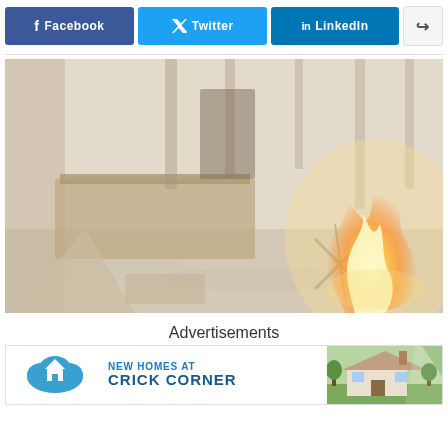[Figure (infographic): Social media share buttons: Facebook (blue), Twitter (blue), LinkedIn (blue), and a share icon button]
[Figure (photo): Fire damage scene inside a burned house with flames visible on the right side, debris and ash on the floor, charred furniture remains, smoky hazy atmosphere]
Advertisements
[Figure (infographic): Advertisement banner for New Homes at Crick Corner with cloud/house logo on the left, text in the middle, and a house photo on the right]